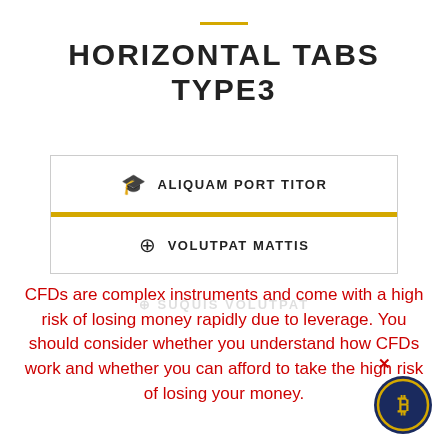HORIZONTAL TABS TYPE3
[Figure (infographic): A UI widget showing horizontal tabs. First tab: graduation cap icon with label ALIQUAM PORT TITOR (active, underlined with gold/yellow bar). Second tab: gear/settings circle icon with label VOLUTPAT MATTIS.]
CFDs are complex instruments and come with a high risk of losing money rapidly due to leverage. You should consider whether you understand how CFDs work and whether you can afford to take the high risk of losing your money.